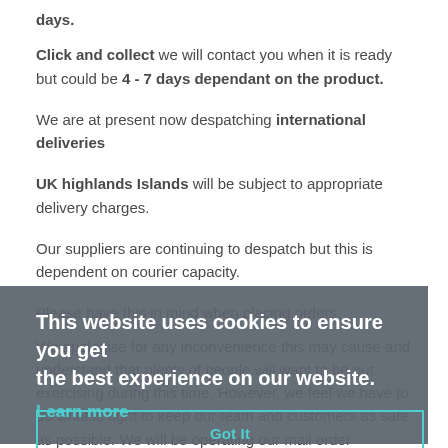days.
Click and collect we will contact you when it is ready but could be 4 - 7 days dependant on the product.
We are at present now despatching international deliveries
UK highlands Islands will be subject to appropriate delivery charges.
Our suppliers are continuing to despatch but this is dependent on courier capacity.
Please have this in mind when placing orders.
We apologise for any inconvenience this may cause and understand that plenty of people will want to be out exercising during this time. However, we feel we have to do what is right to keep our team and customers as safe as possible. We will be operating our mail order business as best we can.
We may not get to the phone so please drop us a line to
This website uses cookies to ensure you get the best experience on our website. Learn more Got It